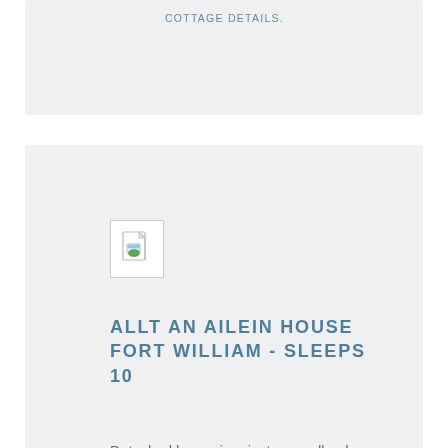COTTAGE DETAILS.
[Figure (photo): Broken image placeholder icon for Allt An Ailein House Fort William]
ALLT AN AILEIN HOUSE FORT WILLIAM - SLEEPS 10
Detached house in private, woodland garden, 10 miles from Fort William. Sleeps 10 with indoor swimming pool & sauna!
COTTAGE DETAILS.